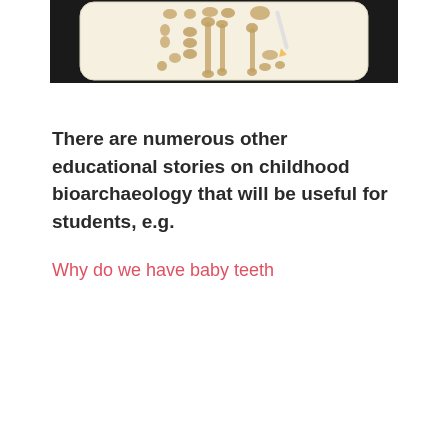[Figure (photo): A photograph of a tray or board displaying laid-out skeletal bones (likely a child's skeleton or bone replica set) arranged on a cream/white surface against a black background. The bones include small vertebrae, long bones, and other skeletal elements.]
There are numerous other educational stories on childhood bioarchaeology that will be useful for students, e.g.
Why do we have baby teeth